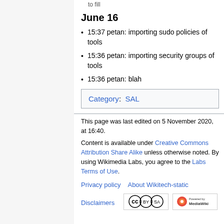June 16
15:37 petan: importing sudo policies of tools
15:36 petan: importing security groups of tools
15:36 petan: blah
Category:  SAL
This page was last edited on 5 November 2020, at 16:40.
Content is available under Creative Commons Attribution Share Alike unless otherwise noted. By using Wikimedia Labs, you agree to the Labs Terms of Use.
Privacy policy   About Wikitech-static
Disclaimers